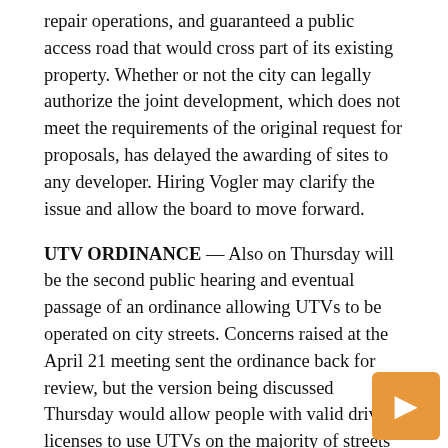repair operations, and guaranteed a public access road that would cross part of its existing property. Whether or not the city can legally authorize the joint development, which does not meet the requirements of the original request for proposals, has delayed the awarding of sites to any developer. Hiring Vogler may clarify the issue and allow the board to move forward.
UTV ORDINANCE — Also on Thursday will be the second public hearing and eventual passage of an ordinance allowing UTVs to be operated on city streets. Concerns raised at the April 21 meeting sent the ordinance back for review, but the version being discussed Thursday would allow people with valid driver's licenses to use UTVs on the majority of streets in Escanaba, with certain prohibited areas, such as the majority of Ludington Park and all of US-2, US-41, and M-35.
OTHER OPEN BUSINESS – Council will also hold a second public hearing and possibly pass the city's newly revamped zoning ordinance, hold public hearings for two special assessments for paving asphalt driveways, and consider donating old public safety equipment to the Escanaba School District...